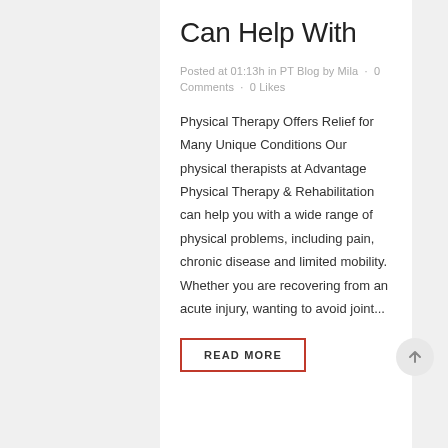Can Help With
Posted at 01:13h in PT Blog by Mila · 0 Comments · 0 Likes
Physical Therapy Offers Relief for Many Unique Conditions Our physical therapists at Advantage Physical Therapy & Rehabilitation can help you with a wide range of physical problems, including pain, chronic disease and limited mobility. Whether you are recovering from an acute injury, wanting to avoid joint...
READ MORE